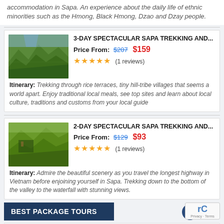accommodation in Sapa. An experience about the daily life of ethnic minorities such as the Hmong, Black Hmong, Dzao and Dzay people.
3-DAY SPECTACULAR SAPA TREKKING AND...
Price From: $207 $159 ★★★★★ (1 reviews)
Itinerary: Trekking through rice terraces, tiny hill-tribe villages that seems a world apart. Enjoy traditional local meals, see top sites and learn about local culture, traditions and customs from your local guide
2-DAY SPECTACULAR SAPA TREKKING AND...
Price From: $129 $93 ★★★★★ (1 reviews)
Itinerary: Admire the beautiful scenery as you travel the longest highway in Vietnam before enjoining yourself in Sapa. Trekking down to the bottom of the valley to the waterfall with stunning views.
BEST PACKAGE TOURS
BEST OF VIETNAM
Price From: $1799 $1499